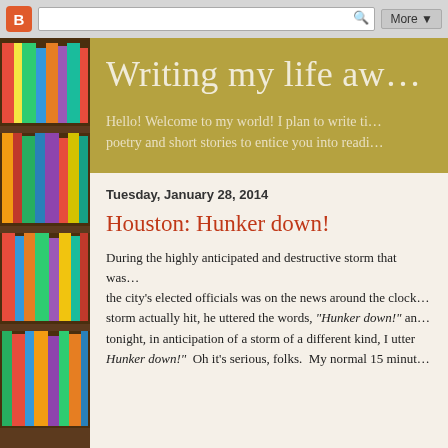Blogger nav bar with logo, search, More button
[Figure (photo): Bookshelf with colorful books on left sidebar]
Writing my life aw...
Hello! Welcome to my world! I plan to write ti... poetry and short stories to entice you into readi...
Tuesday, January 28, 2014
Houston: Hunker down!
During the highly anticipated and destructive storm that was... the city's elected officials was on the news around the cloc... storm actually hit, he uttered the words, "Hunker down!" an... tonight, in anticipation of a storm of a different kind, I utter Hunker down!"  Oh it's serious, folks.  My normal 15 minut...